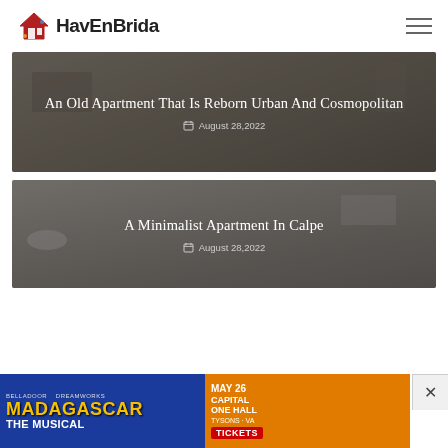HavEnBrida
[Figure (photo): Interior apartment photo with dark overlay showing title: An Old Apartment That Is Reborn Urban And Cosmopolitan, dated August 28,2022]
[Figure (photo): Interior minimalist apartment photo with dark overlay showing title: A Minimalist Apartment In Calpe, dated August 28,2022]
[Figure (photo): Advertisement banner for Madagascar The Musical, DreamWorks, May 26, Capital One Hall, Tysons VA, Tickets]